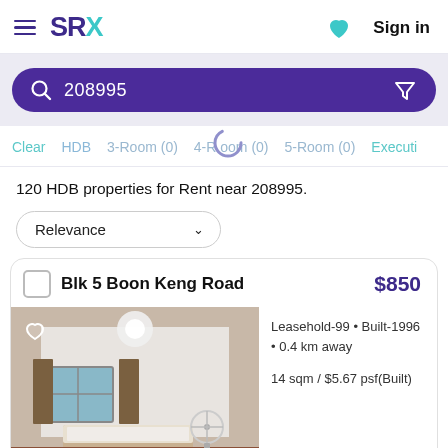SRX — Sign in
208995
Clear
HDB
3-Room (0)
4-Room (0)
5-Room (0)
Executive
120 HDB properties for Rent near 208995.
Relevance
Blk 5 Boon Keng Road  $850
Leasehold-99 • Built-1996 • 0.4 km away
14 sqm / $5.67 psf(Built)
[Figure (photo): Interior photo of a bedroom with white ceiling lamp, curtains, bed and a fan.]